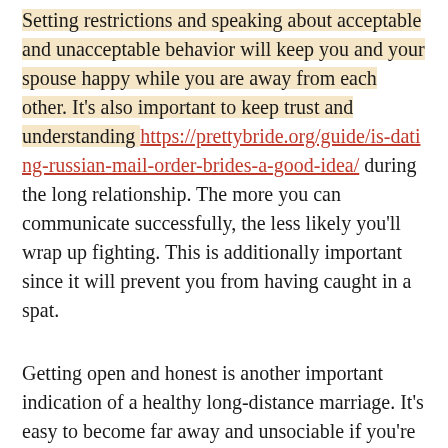Setting restrictions and speaking about acceptable and unacceptable behavior will keep you and your spouse happy while you are away from each other. It's also important to keep trust and understanding https://prettybride.org/guide/is-dating-russian-mail-order-brides-a-good-idea/ during the long relationship. The more you can communicate successfully, the less likely you'll wrap up fighting. This is additionally important since it will prevent you from having caught in a spat.
Getting open and honest is another important indication of a healthy long-distance marriage. It's easy to become far away and unsociable if you're not conversing regularly. It's important to remember that enough time you spend away from each other will not be wasted on unproductive actions. Try to keep in touch with each other frequently, and give a card or perhaps gift that shows you will absolutely thinking of them. In addition, try to share activities and experiences you've got together, that may enrich the long-distance romantic relationship.